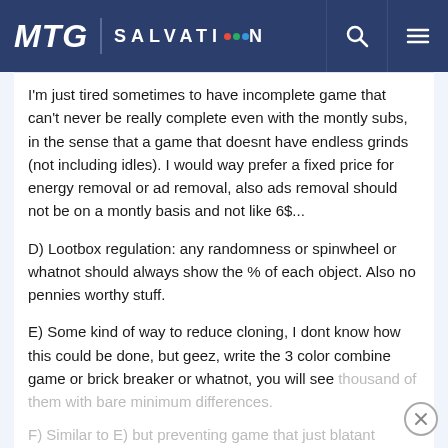MTG | SALVATION
I'm just tired sometimes to have incomplete game that can't never be really complete even with the montly subs, in the sense that a game that doesnt have endless grinds (not including idles). I would way prefer a fixed price for energy removal or ad removal, also ads removal should not be on a montly basis and not like 6$...
D) Lootbox regulation: any randomness or spinwheel or whatnot should always show the % of each object. Also no pennies worthy stuff.
E) Some kind of way to reduce cloning, I dont know how this could be done, but geez, write the 3 color combine game or brick breaker or whatnot, you will see thousand of them with bare minimum differences.
F) Similar to E) but preventing game that just blatant